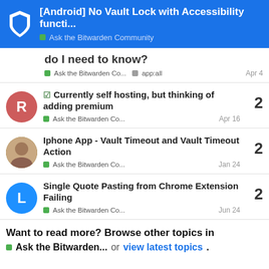[Android] No Vault Lock with Accessibility functi... — Ask the Bitwarden Community
do I need to know?
Ask the Bitwarden Co...   app:all   Apr 4
☑ Currently self hosting, but thinking of adding premium
Ask the Bitwarden Co...   Apr 16   2
Iphone App - Vault Timeout and Vault Timeout Action
Ask the Bitwarden Co...   Jan 24   2
Single Quote Pasting from Chrome Extension Failing
Ask the Bitwarden Co...   Jun 24   2
Want to read more? Browse other topics in Ask the Bitwarden... or view latest topics.